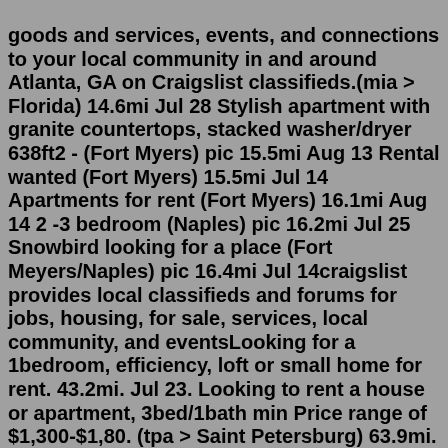goods and services, events, and connections to your local community in and around Atlanta, GA on Craigslist classifieds.(mia > Florida) 14.6mi Jul 28 Stylish apartment with granite countertops, stacked washer/dryer 638ft2 - (Fort Myers) pic 15.5mi Aug 13 Rental wanted (Fort Myers) 15.5mi Jul 14 Apartments for rent (Fort Myers) 16.1mi Aug 14 2 -3 bedroom (Naples) pic 16.2mi Jul 25 Snowbird looking for a place (Fort Meyers/Naples) pic 16.4mi Jul 14craigslist provides local classifieds and forums for jobs, housing, for sale, services, local community, and eventsLooking for a 1bedroom, efficiency, loft or small home for rent. 43.2mi. Jul 23. Looking to rent a house or apartment, 3bed/1bath min Price range of $1,300-$1,80. (tpa > Saint Petersburg) 63.9mi. Aug 10. Looking to rent a house or apartment, 3bed/1bath min Price range of $1,300-$1,80. (tpa > Saint Petersburg) 63.9mi. Aug 10. 4Bed/3.5 bath House Dothan owner fin Granite Kitchen 2 mbr suites. $199,900 4br - 2050ft2 - (212 N Beverlye Dothan Al Near ACOM) pic. Jul 31.SHARE Nice Extended-Stay